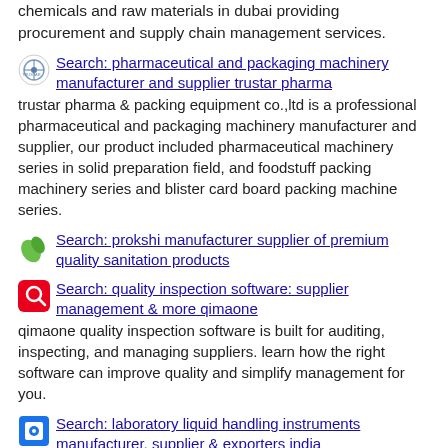chemicals and raw materials in dubai providing procurement and supply chain management services.
Search: pharmaceutical and packaging machinery manufacturer and supplier trustar pharma
trustar pharma & packing equipment co.,ltd is a professional pharmaceutical and packaging machinery manufacturer and supplier, our product included pharmaceutical machinery series in solid preparation field, and foodstuff packing machinery series and blister card board packing machine series.
Search: prokshi manufacturer supplier of premium quality sanitation products
Search: quality inspection software: supplier management & more qimaone
qimaone quality inspection software is built for auditing, inspecting, and managing suppliers. learn how the right software can improve quality and simplify management for you.
Search: laboratory liquid handling instruments manufacturer, supplier & exporters india